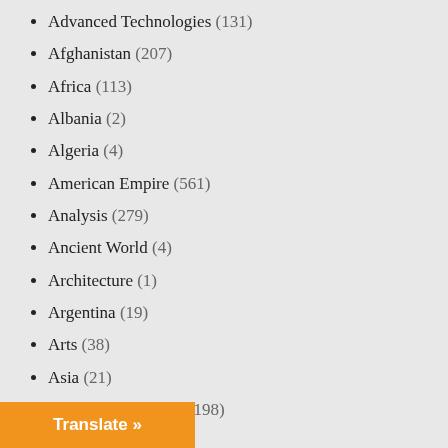Advanced Technologies (131)
Afghanistan (207)
Africa (113)
Albania (2)
Algeria (4)
American Empire (561)
Analysis (279)
Ancient World (4)
Architecture (1)
Argentina (19)
Arts (38)
Asia (21)
Assange extradition (198)
Australia (93)
Bahrain (6)
Bahrain (7)
Ban Ki-Moon (2)
Bangladesh (2)
Translate »